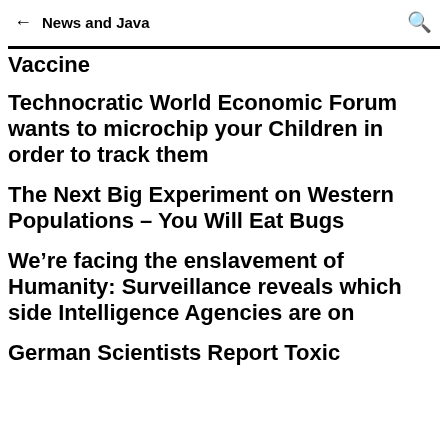← News and Java 🔍
Vaccine
Technocratic World Economic Forum wants to microchip your Children in order to track them
The Next Big Experiment on Western Populations – You Will Eat Bugs
We're facing the enslavement of Humanity: Surveillance reveals which side Intelligence Agencies are on
German Scientists Report Toxic